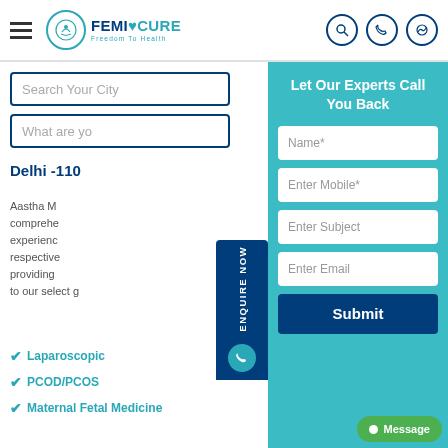FEMICURE - Freedom To Health
Search Your City
What are you looking for?
Delhi -110...
Aastha M... comprehensive... experienced... respective... providing... to our select g...
Laparoscopic
PCOD/PCOS
Maternal Fetal Medicine
Let Our Experts Call You Back
Name*
Enter Mobile*
Enter Subject
Enter Email
Submit
ENQUIRE NOW
Message